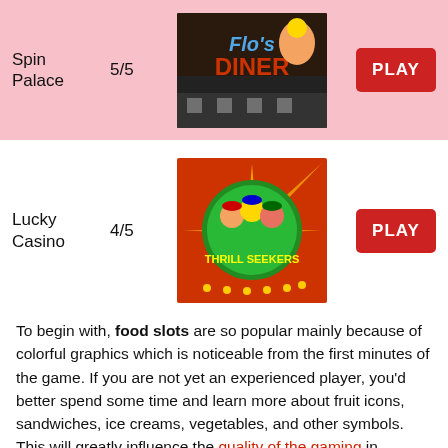| Casino | Rating | Game Image | Action |
| --- | --- | --- | --- |
| Spin Palace | 5/5 | [Flo's Diner image] | PLAY |
| Lucky Casino | 4/5 | [Thrill Seekers image] | PLAY |
To begin with, food slots are so popular mainly because of colorful graphics which is noticeable from the first minutes of the game. If you are not yet an experienced player, you’d better spend some time and learn more about fruit icons, sandwiches, ice creams, vegetables, and other symbols. This will greatly influence the quality of the gaming in general and the level of your jackpots in particular. So, just a small exploration of this topic will help you to win huge jackpots in the shortest possible time period. Moreover, you are more likely to get mo...